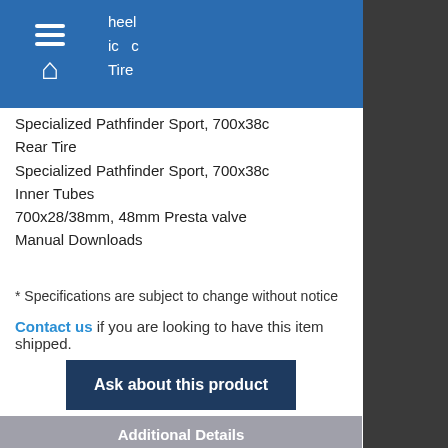McPhail's Cycle & Sport
Specialized Pathfinder Sport, 700x38c
Rear Tire
Specialized Pathfinder Sport, 700x38c
Inner Tubes
700x28/38mm, 48mm Presta valve
Manual Downloads
* Specifications are subject to change without notice
Contact us if you are looking to have this item shipped.
Ask about this product
Additional Details
| Wheel Size |  |
| --- | --- |
| Wheel Size | 700C |